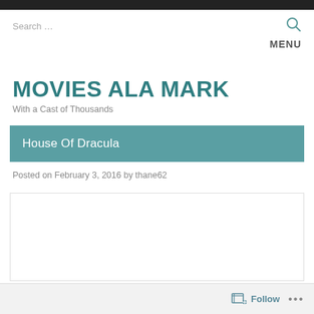Search ...
MENU
MOVIES ALA MARK
With a Cast of Thousands
House Of Dracula
Posted on February 3, 2016 by thane62
Follow ...